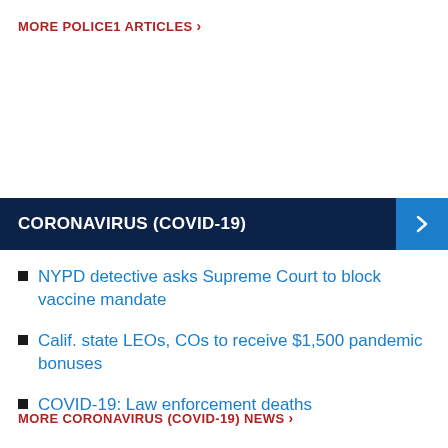MORE POLICE1 ARTICLES >
CORONAVIRUS (COVID-19)
NYPD detective asks Supreme Court to block vaccine mandate
Calif. state LEOs, COs to receive $1,500 pandemic bonuses
COVID-19: Law enforcement deaths
MORE CORONAVIRUS (COVID-19) NEWS >